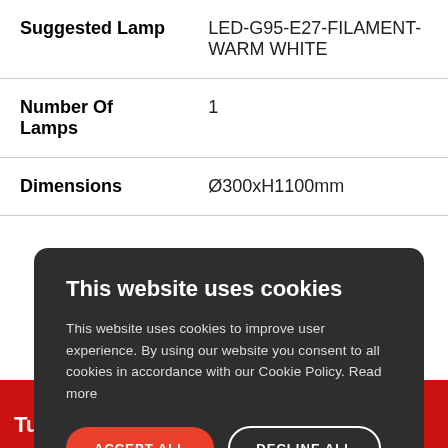| Property | Value |
| --- | --- |
| Suggested Lamp | LED-G95-E27-FILAMENT-WARM WHITE |
| Number Of Lamps | 1 |
| Dimensions | Ø300xH1100mm |
[Figure (screenshot): Cookie consent modal overlay with dark background. Title: 'This website uses cookies'. Body text explains cookie usage. Two buttons: 'ACCEPT ALL' (red, pill-shaped) and 'DECLINE ALL' (outline, pill-shaped). Below buttons: gear icon with 'SHOW DETAILS' text.]
T...